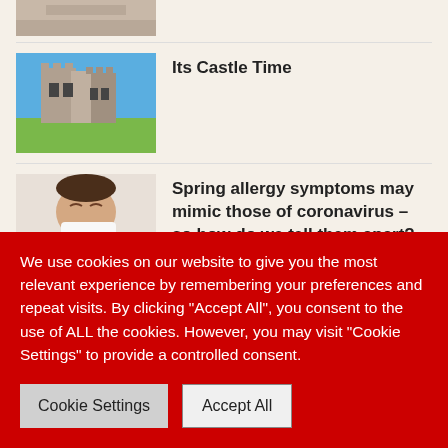[Figure (photo): Partial image at top, barely visible — cropped roof/textile texture]
[Figure (photo): Photo of a ruined stone castle tower against a blue sky with green grass]
Its Castle Time
[Figure (photo): Photo of a child sneezing or blowing nose into a tissue]
Spring allergy symptoms may mimic those of coronavirus – so how do we tell them apart? An allergist weighs in.
[Figure (photo): Partial photo, partially obscured by cookie banner, green background visible]
Where is the Love? Finding a simple, yet
We use cookies on our website to give you the most relevant experience by remembering your preferences and repeat visits. By clicking "Accept All", you consent to the use of ALL the cookies. However, you may visit "Cookie Settings" to provide a controlled consent.